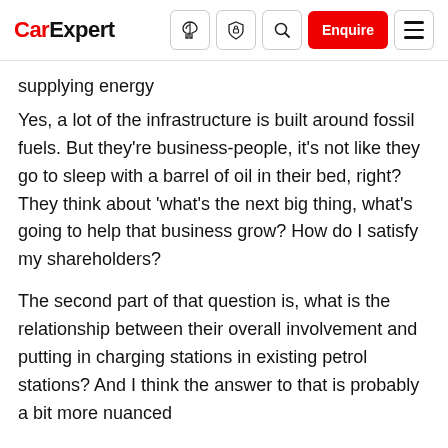CarExpert [nav icons] Enquire [menu]
supplying energy
Yes, a lot of the infrastructure is built around fossil fuels. But they're business-people, it's not like they go to sleep with a barrel of oil in their bed, right? They think about 'what's the next big thing, what's going to help that business grow? How do I satisfy my shareholders?
The second part of that question is, what is the relationship between their overall involvement and putting in charging stations in existing petrol stations? And I think the answer to that is probably a bit more nuanced